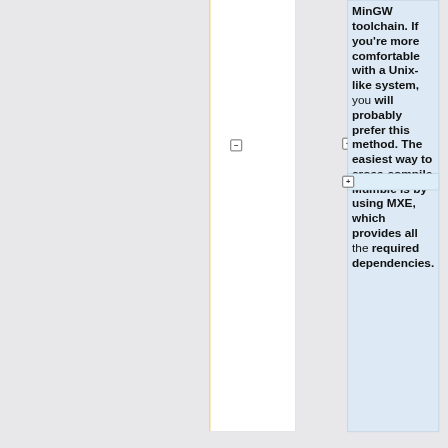MinGW toolchain. If you're more comfortable with a Unix-like system, you will probably prefer this method. The easiest way to cross-compile Mumble is by using MXE, which provides all the required dependencies.